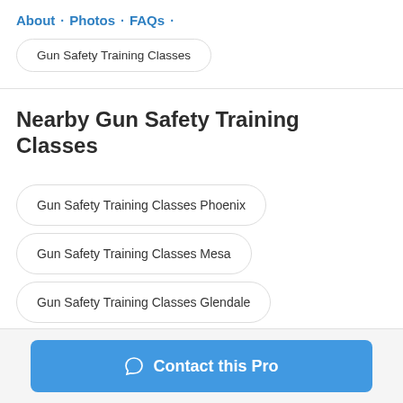About · Photos · FAQs ·
Gun Safety Training Classes
Nearby Gun Safety Training Classes
Gun Safety Training Classes Phoenix
Gun Safety Training Classes Mesa
Gun Safety Training Classes Glendale
Contact this Pro